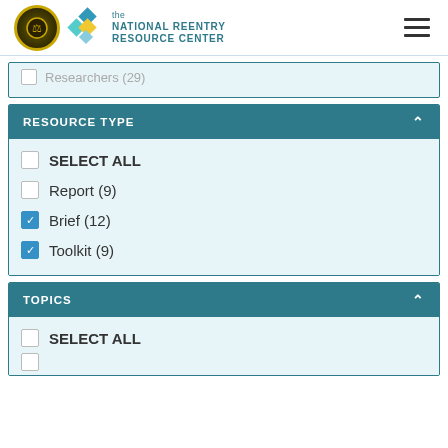the NATIONAL REENTRY RESOURCE CENTER
Researchers (29)
RESOURCE TYPE
SELECT ALL
Report (9)
Brief (12) [checked]
Toolkit (9) [checked]
TOPICS
SELECT ALL